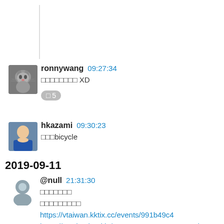[Figure (other): Partial message with vertical divider line at top of page, cut off from previous content]
ronnywang 09:27:34
□□□□□□□□ XD
🔁5
hkazami 09:30:23
□□□bicycle
2019-09-11
@null 21:31:30
□□□□□□□
□□□□□□□□□
https://vtaiwan.kktix.cc/events/991b49c4
https://g0v.hackmd.io/Dq-TXJvgQWuxRCS0czJkJQ
https://meet.jit.si/vtaiwan
KKTIX vTaiwan□□□□□□□□□
□□□2019/09/18